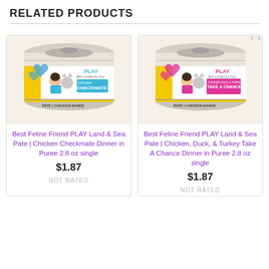RELATED PRODUCTS
[Figure (photo): Can of Best Feline Friend PLAY Land & Sea Pate Chicken Checkmate Dinner in Puree, 2.8 oz, with illustrated label showing a girl hugging a cat]
Best Feline Friend PLAY Land & Sea Pate | Chicken Checkmate Dinner in Puree 2.8 oz single
$1.87
NOT RATED
[Figure (photo): Can of Best Feline Friend PLAY Land & Sea Pate Chicken, Duck, & Turkey Take A Chance Dinner in Puree, 2.8 oz, with illustrated label showing a girl hugging a cat]
Best Feline Friend PLAY Land & Sea Pate | Chicken, Duck, & Turkey Take A Chance Dinner in Puree 2.8 oz single
$1.87
NOT RATED